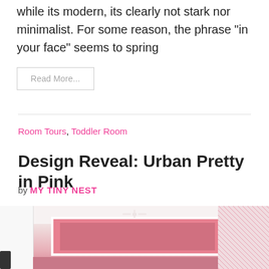while its modern, its clearly not stark nor minimalist. For some reason, the phrase “in your face” seems to spring
Read More...
Room Tours, Toddler Room
Design Reveal: Urban Pretty in Pink
by MY TINY NEST
[Figure (photo): Interior photo of a pink toddler room with white furniture, pink walls, floral wallpaper on the right side, and a white ceiling fan]